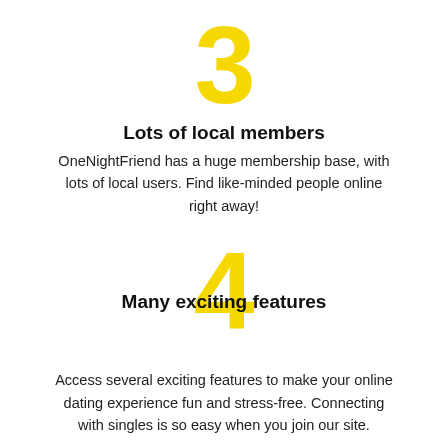[Figure (infographic): Large yellow numeral 3]
Lots of local members
OneNightFriend has a huge membership base, with lots of local users. Find like-minded people online right away!
[Figure (infographic): Large yellow numeral 4 overlapping with section header text]
Many exciting features
Access several exciting features to make your online dating experience fun and stress-free. Connecting with singles is so easy when you join our site.